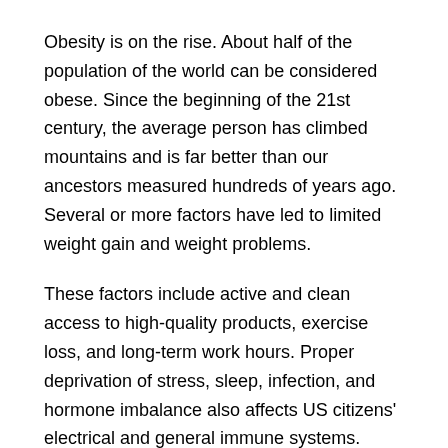Obesity is on the rise. About half of the population of the world can be considered obese. Since the beginning of the 21st century, the average person has climbed mountains and is far better than our ancestors measured hundreds of years ago. Several or more factors have led to limited weight gain and weight problems.
These factors include active and clean access to high-quality products, exercise loss, and long-term work hours. Proper deprivation of stress, sleep, infection, and hormone imbalance also affects US citizens' electrical and general immune systems.
Must SEE: Click here to buy Exipure
Weight loss for people with obesity is required for a healthy lifestyle. The existence of obesity will end depending on the